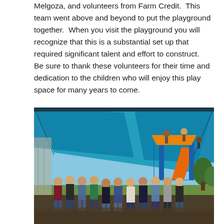Melgoza, and volunteers from Farm Credit.  This team went above and beyond to put the playground together.  When you visit the playground you will recognize that this is a substantial set up that required significant talent and effort to construct.  Be sure to thank these volunteers for their time and dedication to the children who will enjoy this play space for many years to come.
[Figure (photo): Group photo of volunteers standing in front of a playground with a large blue shade canopy. Children are visible on the playground equipment in the background. The group consists of approximately 15-20 adults posing together on what appears to be rubber mulch ground cover.]